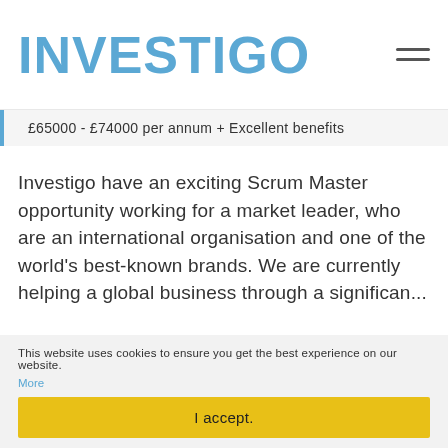INVESTIGO
£65000 - £74000 per annum + Excellent benefits
Investigo have an exciting Scrum Master opportunity working for a market leader, who are an international organisation and one of the world's best-known brands. We are currently helping a global business through a significan...
APPLY NOW
READ MORE
This website uses cookies to ensure you get the best experience on our website.
More
I accept.